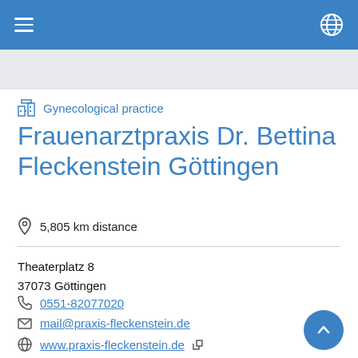Gynecological practice
Frauenarztpraxis Dr. Bettina Fleckenstein Göttingen
5,805 km distance
Theaterplatz 8
37073 Göttingen
0551-82077020
mail@praxis-fleckenstein.de
www.praxis-fleckenstein.de
Services offered